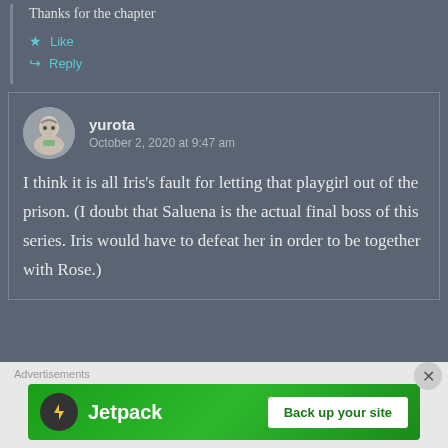Thanks for the chapter
Like
Reply
yurota
October 2, 2020 at 9:47 am
I think it is all Iris's fault for letting that playgirl out of the prison. (I doubt that Saluena is the actual final boss of this series. Iris would have to defeat her in order to be together with Rose.)
[Figure (infographic): Jetpack advertisement banner with green background, Jetpack logo icon, text 'Jetpack', and a white button 'Back up your site']